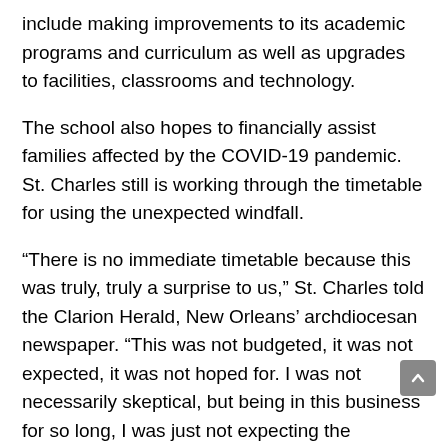include making improvements to its academic programs and curriculum as well as upgrades to facilities, classrooms and technology.
The school also hopes to financially assist families affected by the COVID-19 pandemic. St. Charles still is working through the timetable for using the unexpected windfall.
“There is no immediate timetable because this was truly, truly a surprise to us,” St. Charles told the Clarion Herald, New Orleans’ archdiocesan newspaper. “This was not budgeted, it was not expected, it was not hoped for. I was not necessarily skeptical, but being in this business for so long, I was just not expecting the immediacy and the urgency that the donor felt, which we greatly appreciate.”
St. Charles said St. Augustine has a national reputation for